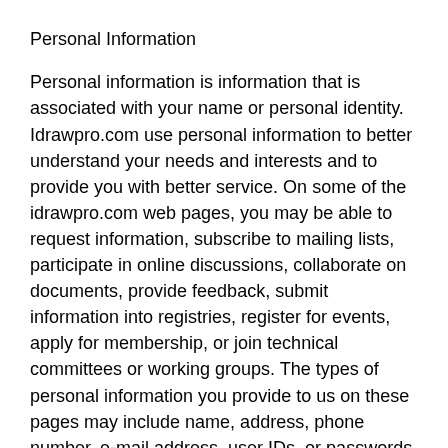Personal Information
Personal information is information that is associated with your name or personal identity. Idrawpro.com use personal information to better understand your needs and interests and to provide you with better service. On some of the idrawpro.com web pages, you may be able to request information, subscribe to mailing lists, participate in online discussions, collaborate on documents, provide feedback, submit information into registries, register for events, apply for membership, or join technical committees or working groups. The types of personal information you provide to us on these pages may include name, address, phone number, e-mail address, user IDs, or passwords.
How We Use Your Information
Idrawpro.com may use non-personal data that is